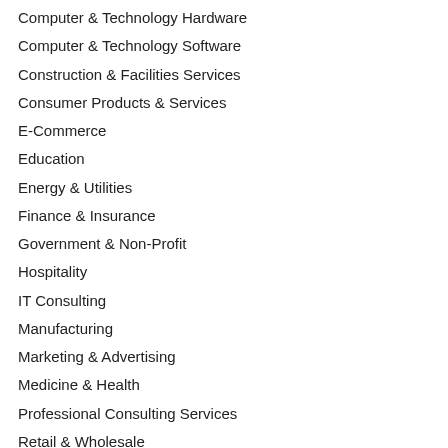Computer & Technology Hardware
Computer & Technology Software
Construction & Facilities Services
Consumer Products & Services
E-Commerce
Education
Energy & Utilities
Finance & Insurance
Government & Non-Profit
Hospitality
IT Consulting
Manufacturing
Marketing & Advertising
Medicine & Health
Professional Consulting Services
Retail & Wholesale
Telecommunications
Transportation & Logistics